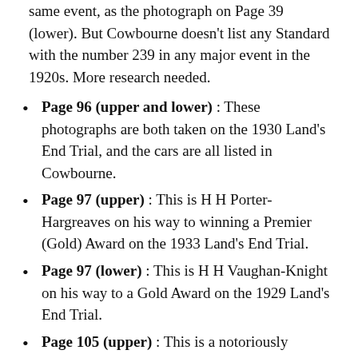same event, as the photograph on Page 39 (lower). But Cowbourne doesn't list any Standard with the number 239 in any major event in the 1920s. More research needed.
Page 96 (upper and lower) : These photographs are both taken on the 1930 Land's End Trial, and the cars are all listed in Cowbourne.
Page 97 (upper) : This is H H Porter-Hargreaves on his way to winning a Premier (Gold) Award on the 1933 Land's End Trial.
Page 97 (lower) : This is H H Vaughan-Knight on his way to a Gold Award on the 1929 Land's End Trial.
Page 105 (upper) : This is a notoriously incorrectly-captioned photograph which